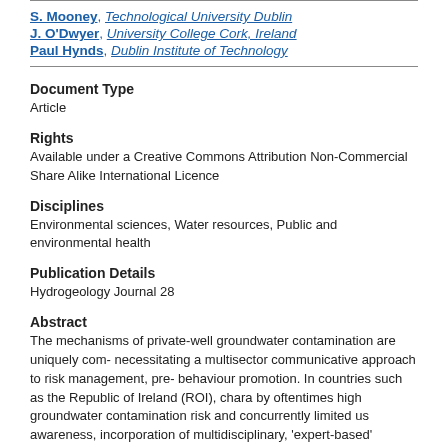S. Mooney, Technological University Dublin
J. O'Dwyer, University College Cork, Ireland
Paul Hynds, Dublin Institute of Technology
Document Type
Article
Rights
Available under a Creative Commons Attribution Non-Commercial Share Alike International Licence
Disciplines
Environmental sciences, Water resources, Public and environmental health
Publication Details
Hydrogeology Journal 28
Abstract
The mechanisms of private-well groundwater contamination are uniquely com- necessitating a multisector communicative approach to risk management, pre- behaviour promotion. In countries such as the Republic of Ireland (ROI), chara by oftentimes high groundwater contamination risk and concurrently limited us awareness, incorporation of multidisciplinary, 'expert-based' knowledge may fa design of evidence-based, practical interventions. Expert interviews represent